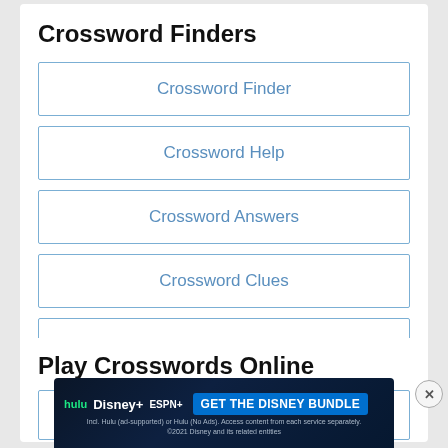Crossword Finders
Crossword Finder
Crossword Help
Crossword Answers
Crossword Clues
Crossword Hints
Play Crosswords Online
Penny Dell
[Figure (screenshot): Advertisement banner for the Disney Bundle featuring Hulu, Disney+, and ESPN+ logos with a blue 'GET THE DISNEY BUNDLE' call-to-action button and fine print text below.]